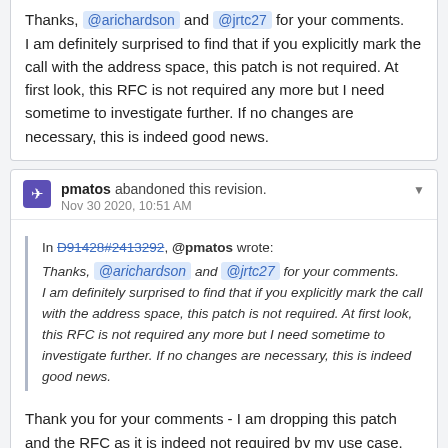Thanks, @arichardson and @jrtc27 for your comments. I am definitely surprised to find that if you explicitly mark the call with the address space, this patch is not required. At first look, this RFC is not required any more but I need sometime to investigate further. If no changes are necessary, this is indeed good news.
pmatos abandoned this revision. Nov 30 2020, 10:51 AM
In D91428#2413292, @pmatos wrote: Thanks, @arichardson and @jrtc27 for your comments. I am definitely surprised to find that if you explicitly mark the call with the address space, this patch is not required. At first look, this RFC is not required any more but I need sometime to investigate further. If no changes are necessary, this is indeed good news.
Thank you for your comments - I am dropping this patch and the RFC as it is indeed not required by my use case.
Revision Contents